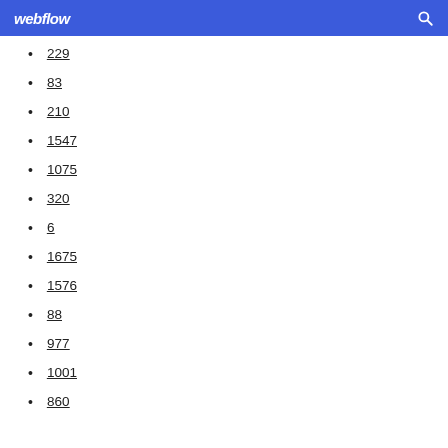webflow
229
83
210
1547
1075
320
6
1675
1576
88
977
1001
860